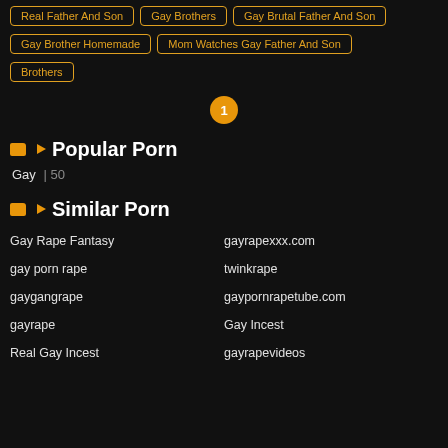Real Father And Son
Gay Brothers
Gay Brutal Father And Son
Gay Brother Homemade
Mom Watches Gay Father And Son
Brothers
1
Popular Porn
Gay | 50
Similar Porn
Gay Rape Fantasy
gayrapexxx.com
gay porn rape
twinkrape
gaygangrape
gaypornrapetube.com
gayrape
Gay Incest
Real Gay Incest
gayrapevideos